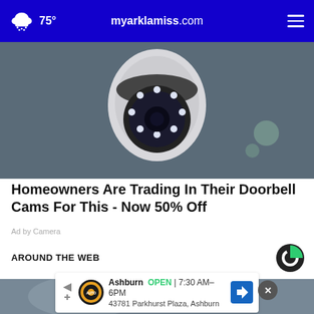myarklamiss.com  75°
[Figure (photo): Close-up photo of a white PTZ security camera with glowing blue LED ring lights on the lens, mounted on a ceiling or wall.]
Homeowners Are Trading In Their Doorbell Cams For This - Now 50% Off
Ad by Camera
AROUND THE WEB
[Figure (logo): Sharethrough (Taboola-style) logo: a dark circle with a green-filled quarter-arc.]
[Figure (photo): Partially visible image below 'Around the Web' heading — blurred background with a close-up ad overlay.]
Ashburn  OPEN | 7:30 AM–6PM
43781 Parkhurst Plaza, Ashburn